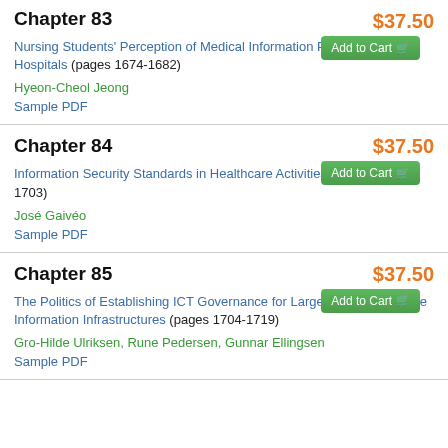Chapter 83
Nursing Students' Perception of Medical Information Protection in Hospitals (pages 1674-1682)
$37.50
Add to Cart
Hyeon-Cheol Jeong
Sample PDF
Chapter 84
Information Security Standards in Healthcare Activities (pages 1683-1703)
$37.50
Add to Cart
José Gaivéo
Sample PDF
Chapter 85
The Politics of Establishing ICT Governance for Large-Scale Healthcare Information Infrastructures (pages 1704-1719)
$37.50
Add to Cart
Gro-Hilde Ulriksen, Rune Pedersen, Gunnar Ellingsen
Sample PDF